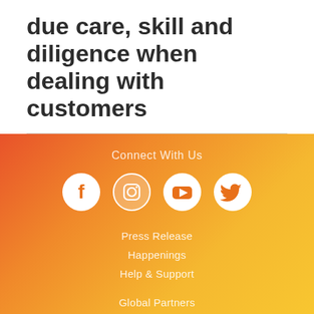due care, skill and diligence when dealing with customers
[Figure (infographic): Footer section with orange-to-yellow gradient background containing 'Connect With Us' heading, four social media icons (Facebook, Instagram, YouTube, Twitter), and footer navigation links: Press Release, Happenings, Help & Support, Global Partners, Treat Customers Fairly Charter]
Connect With Us
Press Release
Happenings
Help & Support
Global Partners
Treat Customers Fairly Charter